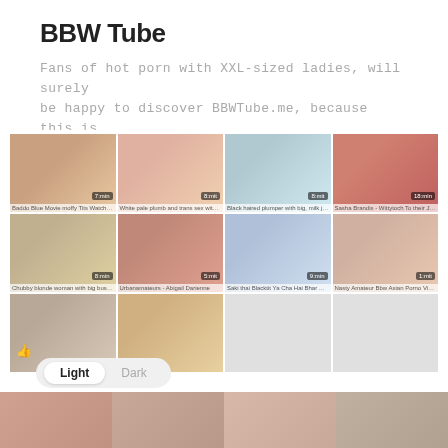BBW Tube
Fans of hot porn with XXL-sized ladies, will surely be happy to discover BBWTube.me, because this is
[Figure (screenshot): Grid of 12 video thumbnails from a BBW tube site, arranged in 4 columns and 3 rows. First row has 4 colored thumbnails with small time labels and captions. Second row has 4 thumbnails. Third row has 2 thumbnails on left, 2 placeholder gray boxes on right. One thumbnail shows a thumbs-up icon.]
Gold BBW
Exotic bbw, drake videos sex : milf bbw, fat porn
Light   Dark
[Figure (screenshot): Bottom strip showing partial thumbnails from another site, cropped at page bottom.]